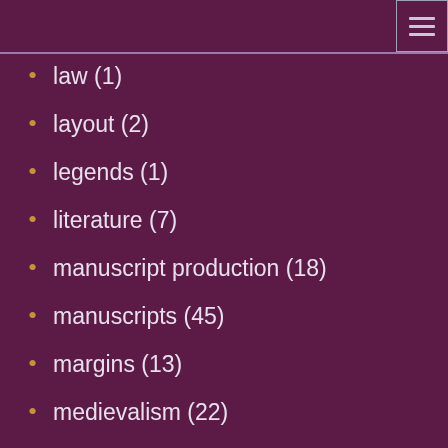law (1)
layout (2)
legends (1)
literature (7)
manuscript production (18)
manuscripts (45)
margins (13)
medievalism (22)
miniatures (13)
music (4)
neo-gothic (3)
new inventory (20)
notes (10)
patronage (1)
preaching (1)
print (2)
readers (10)
rolls (1)
science (3)